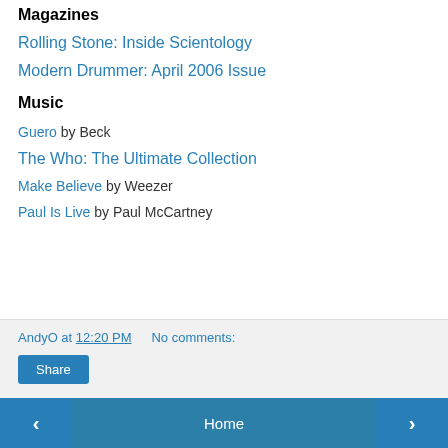Magazines
Rolling Stone: Inside Scientology
Modern Drummer: April 2006 Issue
Music
Guero by Beck
The Who: The Ultimate Collection
Make Believe by Weezer
Paul Is Live by Paul McCartney
AndyO at 12:20 PM    No comments:
Share
‹    Home    ›